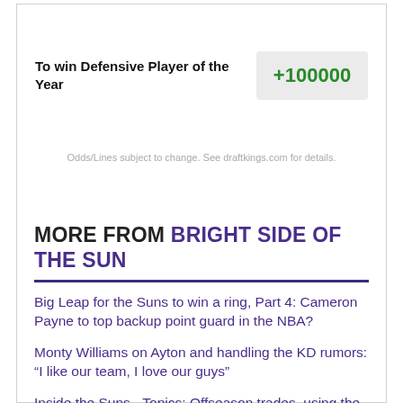| Bet | Odds |
| --- | --- |
| To win Defensive Player of the Year | +100000 |
Odds/Lines subject to change. See draftkings.com for details.
MORE FROM BRIGHT SIDE OF THE SUN
Big Leap for the Suns to win a ring, Part 4: Cameron Payne to top backup point guard in the NBA?
Monty Williams on Ayton and handling the KD rumors: “I like our team, I love our guys”
Inside the Suns - Topics: Offseason trades, using the taxpayer MLE and CP3
5 Gettable Trade Targets for the Phoenix Suns + 2 Wildcards
Re-setting the stage: Phoenix Suns cap update,